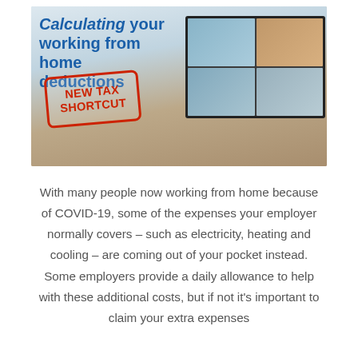[Figure (illustration): Promotional banner image for working from home tax deductions. Shows a person working on a laptop with a video conference call on screen and a dog nearby. Overlaid text reads 'Calculating your working from home deductions' and a stamp graphic saying 'NEW TAX SHORTCUT'.]
With many people now working from home because of COVID-19, some of the expenses your employer normally covers – such as electricity, heating and cooling – are coming out of your pocket instead. Some employers provide a daily allowance to help with these additional costs, but if not it's important to claim your extra expenses